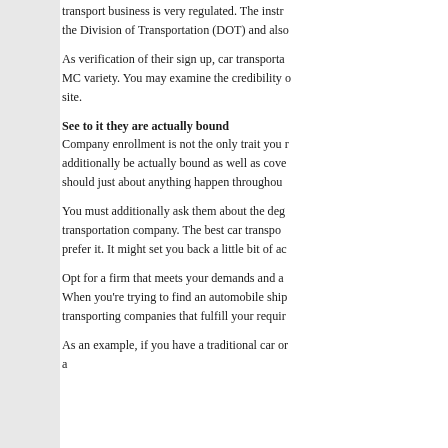transport business is very regulated. The instr the Division of Transportation (DOT) and also
As verification of their sign up, car transporta MC variety. You may examine the credibility o site.
See to it they are actually bound
Company enrollment is not the only trait you r additionally be actually bound as well as cove should just about anything happen throughout
You must additionally ask them about the deg transportation company. The best car transpo prefer it. It might set you back a little bit of ac
Opt for a firm that meets your demands and a When you're trying to find an automobile ship transporting companies that fulfill your requir
As an example, if you have a traditional car or